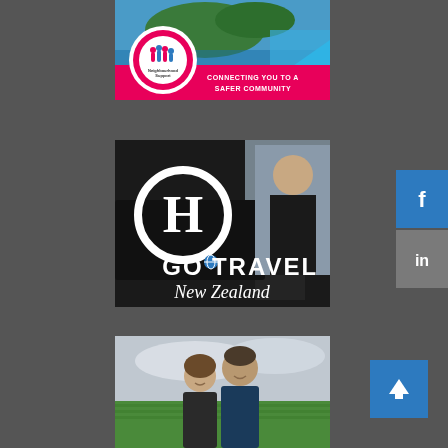[Figure (illustration): Neighbourhood Support advertisement banner with aerial coastal photo, circular Neighbourhood Support logo on pink background, text 'CONNECTING YOU TO A SAFER COMMUNITY' on pink bar]
[Figure (illustration): Go Travel New Zealand advertisement with stylized 'G' logo, man in black uniform next to black vehicle, gold script 'New Zealand' text]
[Figure (photo): Partial image of smiling couple (man and woman) standing in a green crop field under cloudy sky]
[Figure (logo): Facebook social share button - blue square with white 'f' icon]
[Figure (logo): LinkedIn social share button - grey square with white 'in' icon]
[Figure (illustration): Scroll to top button - blue square with white upward arrow]